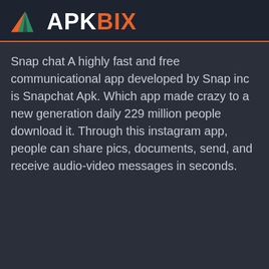[Figure (logo): APKBIX logo with orange triangle mountain icon and text 'APK' in white and 'BIX' in orange on dark background]
Snap chat A highly fast and free communicational app developed by Snap inc is Snapchat Apk. Which app made crazy to a new generation daily 229 million people download it. Through this instagram app, people can share pics, documents, send, and receive audio-video messages in seconds.